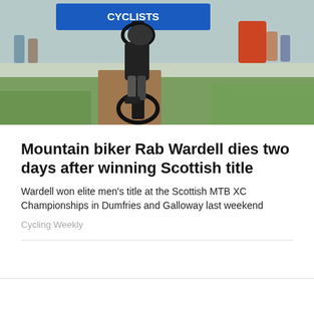[Figure (photo): Mountain biker riding on a dirt track at the Scottish MTB XC Championships, with a blue 'CYCLISTS' banner in the background and spectators visible]
Mountain biker Rab Wardell dies two days after winning Scottish title
Wardell won elite men's title at the Scottish MTB XC Championships in Dumfries and Galloway last weekend
Cycling Weekly